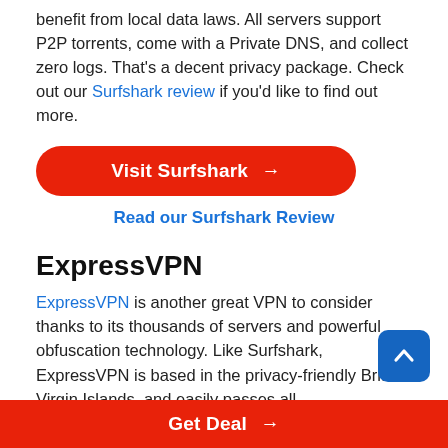benefit from local data laws. All servers support P2P torrents, come with a Private DNS, and collect zero logs. That's a decent privacy package. Check out our Surfshark review if you'd like to find out more.
[Figure (other): Red rounded button labeled 'Visit Surfshark →']
Read our Surfshark Review
ExpressVPN
ExpressVPN is another great VPN to consider thanks to its thousands of servers and powerful obfuscation technology. Like Surfshark, ExpressVPN is based in the privacy-friendly British Virgin Islands, and easily passes all IP/WebRTC/DNS leak tests we've thrown at it.
They've also conducted an independent audit of their
[Figure (other): Blue back-to-top button with upward arrow]
Get Deal →